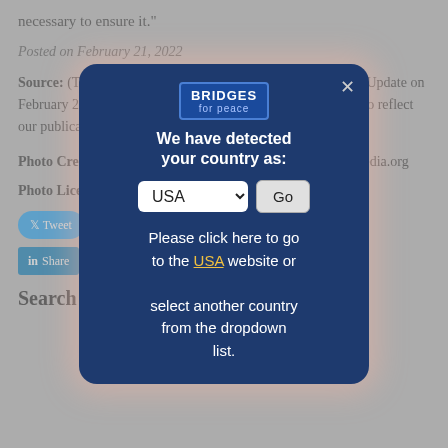necessary to ensure it."
Posted on February 21, 2022
Source: (This article was originally published by the Mideast Update on February 20, 2022. Time-related language has been modified to reflect our publication today.)
Photo Credit: Bunet Pineapple Productions/commons.wikimedia.org
Photo License: Wikimedia
[Figure (screenshot): Social sharing buttons: Tweet, WhatsApp, Email, Print, LinkedIn Share, Pinterest Save, More]
Search News
[Figure (screenshot): Modal popup from Bridges for Peace website. Header shows Bridges for Peace logo with X close button. Body text: 'We have detected your country as:' with a dropdown showing 'USA' and a 'Go' button. Below: 'Please click here to go to the USA website or select another country from the dropdown list.']